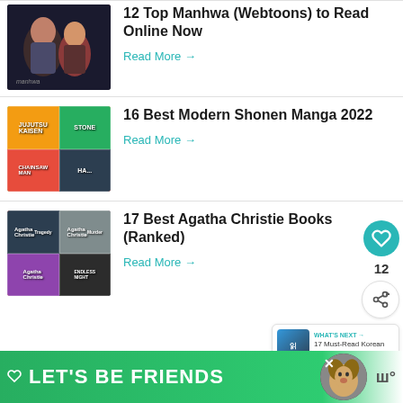[Figure (illustration): Manhwa/webtoon artwork showing two characters]
12 Top Manhwa (Webtoons) to Read Online Now
Read More →
[Figure (illustration): Collage of modern shonen manga covers including Chainsaw Man]
16 Best Modern Shonen Manga 2022
Read More →
[Figure (illustration): Collage of Agatha Christie book covers including Endless Night]
17 Best Agatha Christie Books (Ranked)
Read More →
[Figure (infographic): WHAT'S NEXT banner with thumbnail for 17 Must-Read Korean Nov...]
[Figure (photo): Advertisement banner: LET'S BE FRIENDS with dog photo]